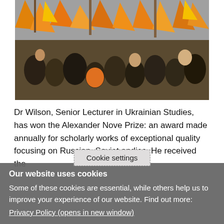[Figure (photo): A large crowd of protesters holding orange flags and banners, associated with the Ukrainian Orange Revolution]
Dr Wilson, Senior Lecturer in Ukrainian Studies, has won the Alexander Nove Prize: an award made annually for scholarly works of exceptional quality focusing on Russian, Soviet and... ies. He received the
Cookie settings
Our website uses cookies
Some of these cookies are essential, while others help us to improve your experience of our website. Find out more:
Privacy Policy (opens in new window)